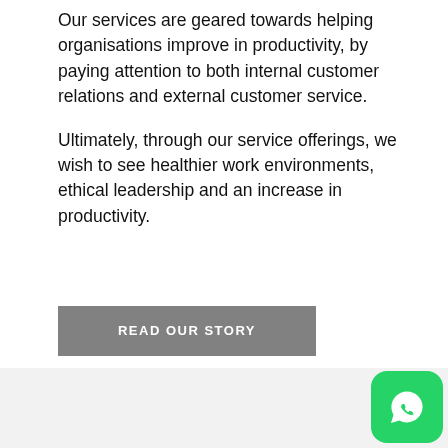Our services are geared towards helping organisations improve in productivity, by paying attention to both internal customer relations and external customer service.
Ultimately, through our service offerings, we wish to see healthier work environments, ethical leadership and an increase in productivity.
[Figure (other): A grey rectangular button with white bold uppercase text 'READ OUR STORY']
[Figure (logo): WhatsApp logo icon — green rounded square with white phone receiver / speech bubble icon]